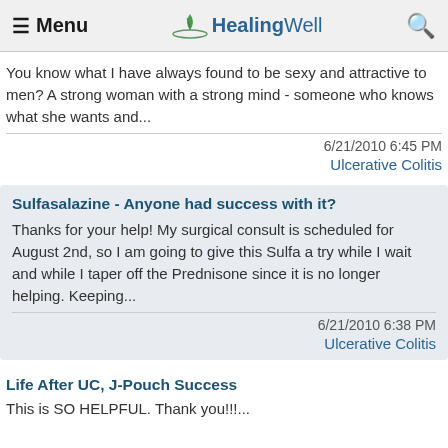≡ Menu   HealingWell   🔍
You know what I have always found to be sexy and attractive to men? A strong woman with a strong mind - someone who knows what she wants and...
6/21/2010 6:45 PM
Ulcerative Colitis
Sulfasalazine - Anyone had success with it?
Thanks for your help! My surgical consult is scheduled for August 2nd, so I am going to give this Sulfa a try while I wait and while I taper off the Prednisone since it is no longer helping. Keeping...
6/21/2010 6:38 PM
Ulcerative Colitis
Life After UC, J-Pouch Success
This is SO HELPFUL. Thank you!!!...